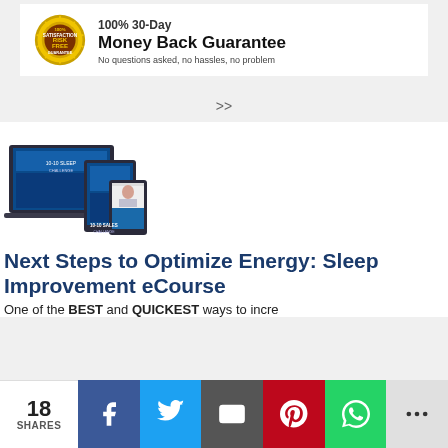[Figure (illustration): 100% 30-Day Money Back Guarantee badge with gold seal and text: No questions asked, no hassles, no problem]
>>
[Figure (illustration): Product mockup images showing Sleep Improvement eCourse on multiple devices: laptop, tablet, phone]
Next Steps to Optimize Energy: Sleep Improvement eCourse
One of the BEST and QUICKEST ways to increase energy
18 SHARES